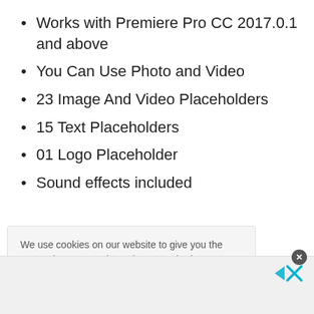Works with Premiere Pro CC 2017.0.1 and above
You Can Use Photo and Video
23 Image And Video Placeholders
15 Text Placeholders
01 Logo Placeholder
Sound effects included
We use cookies on our website to give you the most relevant experience by remembering your preferences and repeat visits. By clicking “Accept”, you consent to the use of ALL the cookies.